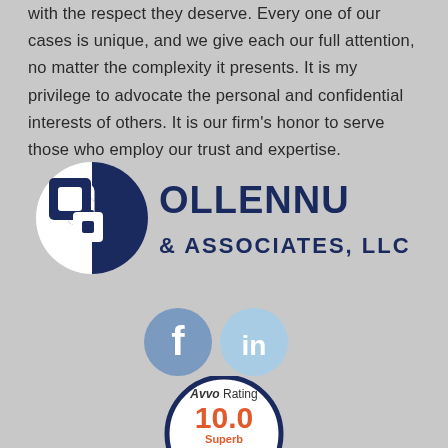with the respect they deserve. Every one of our cases is unique, and we give each our full attention, no matter the complexity it presents. It is my privilege to advocate the personal and confidential interests of others. It is our firm's honor to serve those who employ our trust and expertise.
[Figure (logo): Ollennu & Associates, LLC law firm logo with circular emblem]
[Figure (infographic): Facebook and LinkedIn social media icons]
[Figure (infographic): Avvo Rating 10.0 Superb badge]